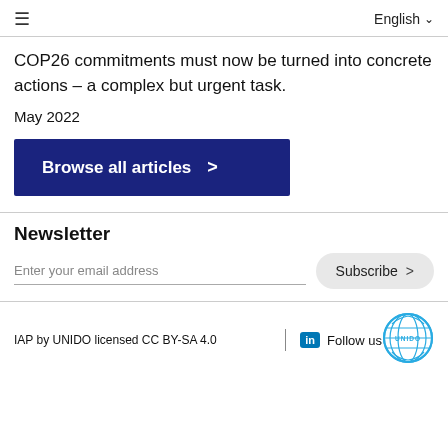≡  English ∨
COP26 commitments must now be turned into concrete actions – a complex but urgent task.
May 2022
[Figure (other): Blue button labeled 'Browse all articles >']
Newsletter
Enter your email address
Subscribe >
IAP by UNIDO licensed CC BY-SA 4.0 | in Follow us [UNIDO logo]